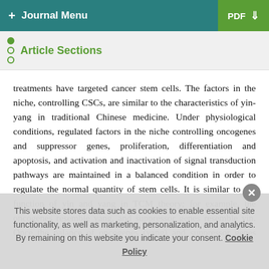+ Journal Menu | PDF
Article Sections
treatments have targeted cancer stem cells. The factors in the niche, controlling CSCs, are similar to the characteristics of yin-yang in traditional Chinese medicine. Under physiological conditions, regulated factors in the niche controlling oncogenes and suppressor genes, proliferation, differentiation and apoptosis, and activation and inactivation of signal transduction pathways are maintained in a balanced condition in order to regulate the normal quantity of stem cells. It is similar to the function of yin and yang in TCM theory; for example, the oncogenes resemble yang, and suppressor genes resemble yin. Once the balance of oncogenes (yang) and suppressor genes (yin) is destroyed, the
This website stores data such as cookies to enable essential site functionality, as well as marketing, personalization, and analytics. By remaining on this website you indicate your consent. Cookie Policy